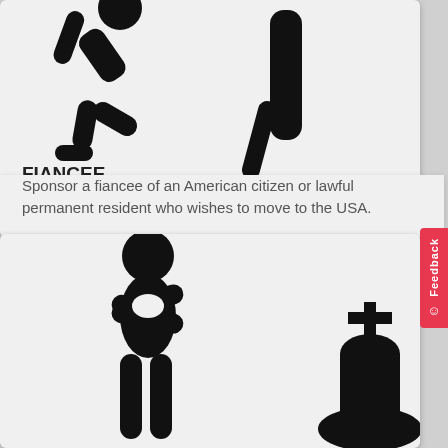[Figure (illustration): Stick figure person kneeling/proposing to another figure, with a bent knee and raised arm, on a light gray background. Top portion of card cropped.]
FIANCEE
Sponsor a fiancee of an American citizen or lawful permanent resident who wishes to move to the USA.
[Figure (illustration): Stick figure person bowing or leaning forward with arms crossed at chest, standing next to a gravestone with a cross on top, on a light gray background.]